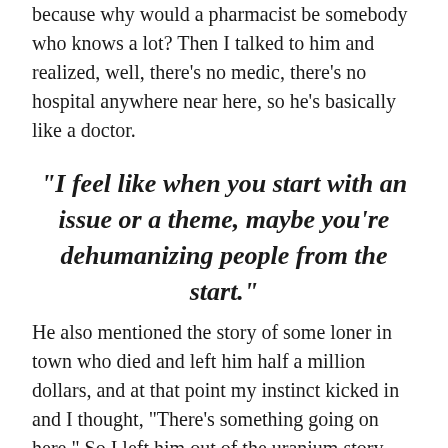because why would a pharmacist be somebody who knows a lot? Then I talked to him and realized, well, there's no medic, there's no hospital anywhere near here, so he's basically like a doctor.
“I feel like when you start with an issue or a theme, maybe you’re dehumanizing people from the start.”
He also mentioned the story of some loner in town who died and left him half a million dollars, and at that point my instinct kicked in and I thought, “There’s something going on here.” So I left him out of the uranium story, with the idea that I was going to pursue this. I didn’t